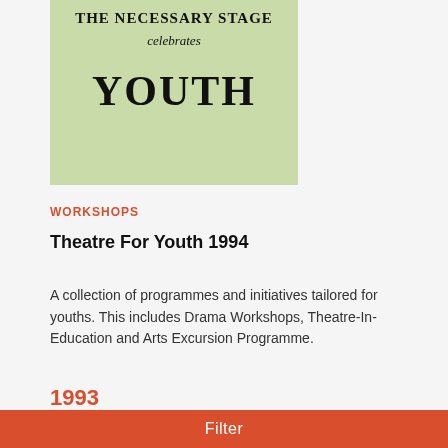[Figure (illustration): A light green poster/book cover for The Necessary Stage with text 'THE NECESSARY STAGE celebrates YOUTH']
WORKSHOPS
Theatre For Youth 1994
A collection of programmes and initiatives tailored for youths. This includes Drama Workshops, Theatre-In-Education and Arts Excursion Programme.
1993
Filter